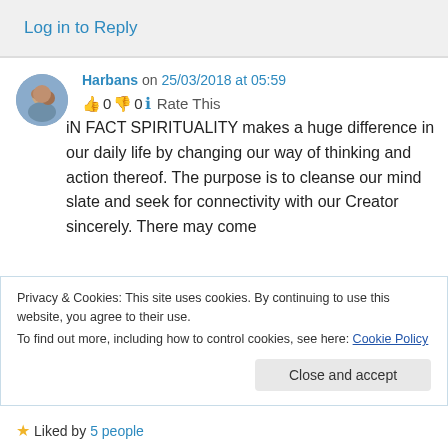Log in to Reply
Harbans on 25/03/2018 at 05:59
👍 0 👎 0 ℹ Rate This
iN FACT SPIRITUALITY makes a huge difference in our daily life by changing our way of thinking and action thereof. The purpose is to cleanse our mind slate and seek for connectivity with our Creator sincerely. There may come
Privacy & Cookies: This site uses cookies. By continuing to use this website, you agree to their use.
To find out more, including how to control cookies, see here: Cookie Policy
Close and accept
★ Liked by 5 people